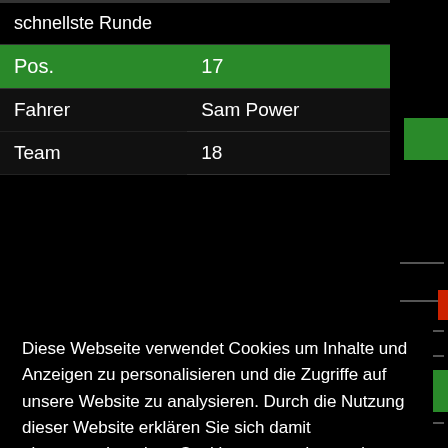| schnellste Runde |  |
| --- | --- |
| Pos. | 17 |
| Fahrer | Sam Power |
| Team | 18 |
Diese Webseite verwendet Cookies um Inhalte und Anzeigen zu personalisieren und die Zugriffe auf unsere Website zu analysieren. Durch die Nutzung dieser Website erklären Sie sich damit einverstanden, dass Cookies verwendet werden.  » Mehr Information
OK!
| Te... | 6 |